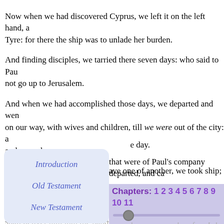Now when we had discovered Cyprus, we left it on the left hand, a Tyre: for there the ship was to unlade her burden.
And finding disciples, we tarried there seven days: who said to Pau not go up to Jerusalem.
And when we had accomplished those days, we departed and wen on our way, with wives and children, till we were out of the city: a and prayed.
And when we had taken our leave one of another, we took ship; and
And when we had finished our course from Tyre, we came to Ptole
e day.
that were of Paul's company departed, and ca
[Figure (screenshot): Navigation popup menu with lavender background showing links: Introduction, Old Testament, New Testament]
[Figure (screenshot): Chapters navigation bar showing: Chapters: 1 2 3 4 5 6 7 8 9 10 11... with slider below]
ome unto us, he took Paul's girdle, and bound Ghost, So shall the Jews at Jerusalem bind the shall deliver him into the hands of the Gentiles.
And when we heard these things, both we, and they of that pla Jerusalem.
Then Paul answered, What mean ye to weep and to break mine hea only, but also to die at Jerusalem for the name of the Lord Jesus.
And when he would not be persuaded, we ceased, saying, The will o
And after those days we took up our carriages, and went up to Jerus
There went with us also certain of the disciples of Caesarea, and